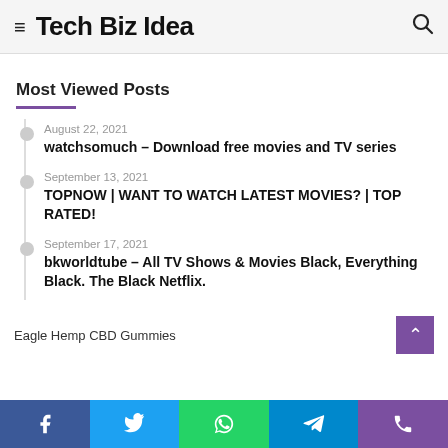Tech Biz Idea
Most Viewed Posts
August 22, 2021
watchsomuch – Download free movies and TV series
September 13, 2021
TOPNOW | WANT TO WATCH LATEST MOVIES? | TOP RATED!
September 17, 2021
bkworldtube – All TV Shows & Movies Black, Everything Black. The Black Netflix.
Eagle Hemp CBD Gummies